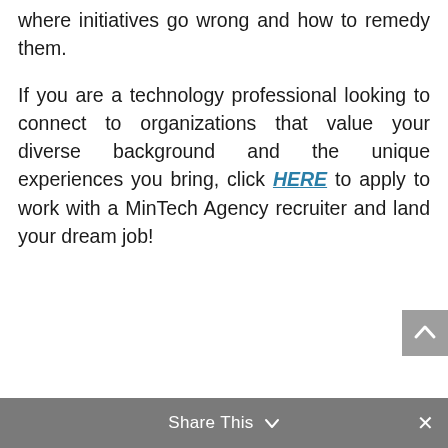where initiatives go wrong and how to remedy them.
If you are a technology professional looking to connect to organizations that value your diverse background and the unique experiences you bring, click HERE to apply to work with a MinTech Agency recruiter and land your dream job!
Share This ∨  ✕